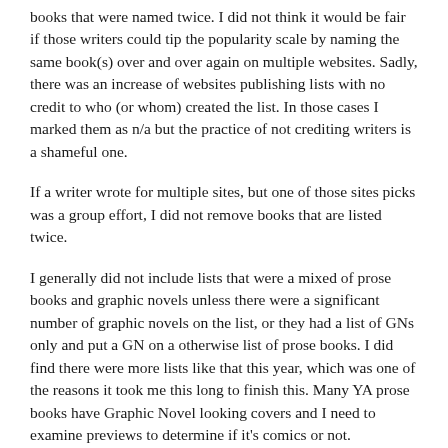books that were named twice. I did not think it would be fair if those writers could tip the popularity scale by naming the same book(s) over and over again on multiple websites. Sadly, there was an increase of websites publishing lists with no credit to who (or whom) created the list. In those cases I marked them as n/a but the practice of not crediting writers is a shameful one.
If a writer wrote for multiple sites, but one of those sites picks was a group effort, I did not remove books that are listed twice.
I generally did not include lists that were a mixed of prose books and graphic novels unless there were a significant number of graphic novels on the list, or they had a list of GNs only and put a GN on a otherwise list of prose books. I did find there were more lists like that this year, which was one of the reasons it took me this long to finish this. Many YA prose books have Graphic Novel looking covers and I need to examine previews to determine if it's comics or not.